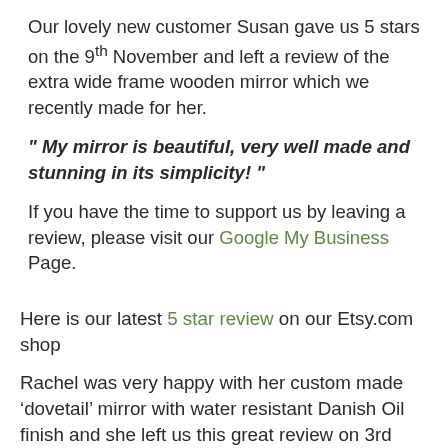Our lovely new customer Susan gave us 5 stars on the 9th November and left a review of the extra wide frame wooden mirror which we recently made for her.
" My mirror is beautiful, very well made and stunning in its simplicity! "
If you have the time to support us by leaving a review, please visit our Google My Business Page.
Here is our latest 5 star review on our Etsy.com shop
Rachel was very happy with her custom made ‘dovetail’ mirror with water resistant Danish Oil finish and she left us this great review on 3rd November 2020